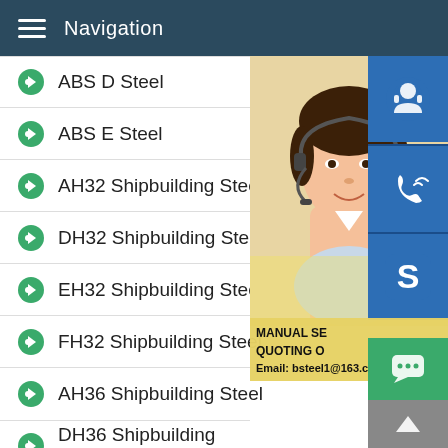Navigation
ABS D Steel
ABS E Steel
AH32 Shipbuilding Steel
DH32 Shipbuilding Steel
EH32 Shipbuilding Steel
FH32 Shipbuilding Steel
AH36 Shipbuilding Steel
DH36 Shipbuilding Steel
EH36 Shipbuilding Steel
FH36 Shipbuilding Steel
AH40 Shipbuilding Steel
[Figure (photo): Customer service representative woman with headset, with contact icons (headset, phone, Skype) and text: MANUAL SE... QUOTING O... Email: bsteel1@163.com]